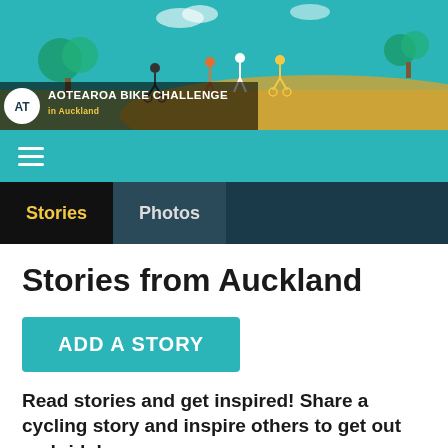[Figure (illustration): Aotearoa Bike Challenge in Auckland banner with illustrated park scene showing cyclists and pedestrians. Logo with AT symbol and text 'AOTEAROA BIKE CHALLENGE in Auckland' overlaid on dark semi-transparent bar.]
[Figure (infographic): Navigation bar with hamburger menu icon (three horizontal white lines) on teal/turquoise background.]
Stories | Photos
Stories from Auckland
ADD A STORY
Read stories and get inspired! Share a cycling story and inspire others to get out and ride!